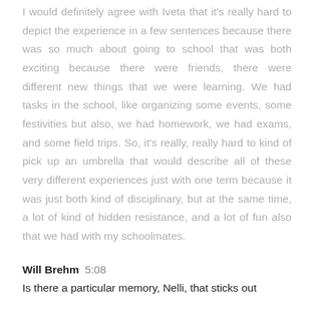I would definitely agree with Iveta that it's really hard to depict the experience in a few sentences because there was so much about going to school that was both exciting because there were friends, there were different new things that we were learning. We had tasks in the school, like organizing some events, some festivities but also, we had homework, we had exams, and some field trips. So, it's really, really hard to kind of pick up an umbrella that would describe all of these very different experiences just with one term because it was just both kind of disciplinary, but at the same time, a lot of kind of hidden resistance, and a lot of fun also that we had with my schoolmates.
Will Brehm  5:08
Is there a particular memory, Nelli, that sticks out